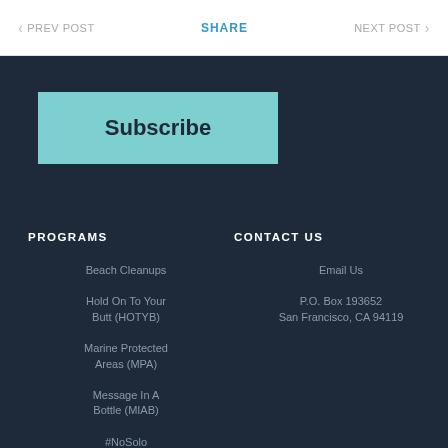< PREV POST   SHARE   NEXT POST >
Subscribe
PROGRAMS
Beach Cleanups
Hold On To Your Butt (HOTYB)
Marine Protected Areas (MPA)
Message In A Bottle (MIAB)
#NoSolo
Ocean Friendly Restaurants (OFR)
Restore Sloat
CONTACT US
Email Us
P.O. Box 193652
San Francisco, CA 94119